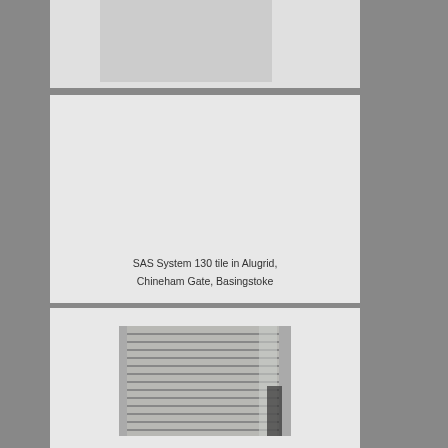[Figure (photo): Top card: partially visible photo area, mostly cropped/cut off at top of page]
[Figure (photo): Interior photo of a long office corridor with ceiling tiles (SAS System 130 tile in Alugrid), square recessed LED lights, dark carpet, windows at the far end, Chineham Gate, Basingstoke]
SAS System 130 tile in Alugrid, Chineham Gate, Basingstoke
[Figure (photo): Partial photo of a ceiling with linear metal strip ceiling tiles, partially visible at bottom of page]